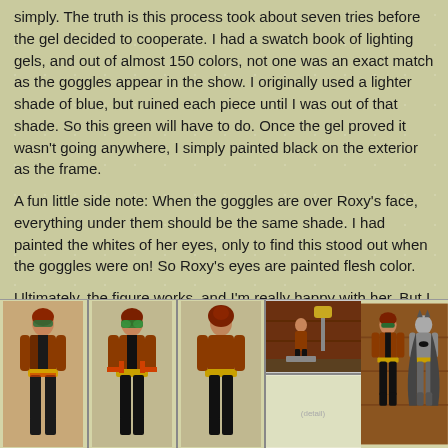simply. The truth is this process took about seven tries before the gel decided to cooperate. I had a swatch book of lighting gels, and out of almost 150 colors, not one was an exact match as the goggles appear in the show. I originally used a lighter shade of blue, but ruined each piece until I was out of that shade. So this green will have to do. Once the gel proved it wasn’t going anywhere, I simply painted black on the exterior as the frame.
A fun little side note: When the goggles are over Roxy’s face, everything under them should be the same shade. I had painted the whites of her eyes, only to find this stood out when the goggles were on! So Roxy’s eyes are painted flesh color.
Ultimately, the figure works, and I’m really happy with her. But I recommend finding a better method for creating the goggles.
(Special thanks to Mom Racer for help obtaining parts!)
Created Fall 2003
[Figure (photo): Five photos of a custom action figure of Roxy, a female character in brown/orange jacket and black pants with green goggles, shown from front, front-angled, back, small scale scene, and next to Batman figure.]